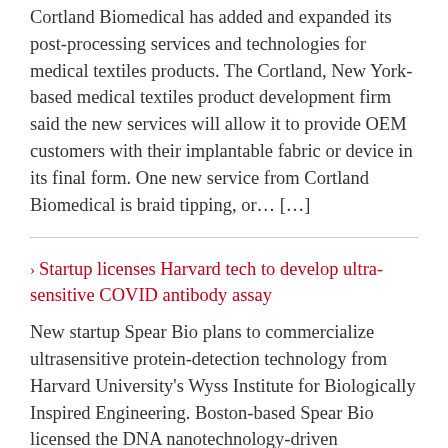Cortland Biomedical has added and expanded its post-processing services and technologies for medical textiles products. The Cortland, New York-based medical textiles product development firm said the new services will allow it to provide OEM customers with their implantable fabric or device in its final form. One new service from Cortland Biomedical is braid tipping, or… […]
Startup licenses Harvard tech to develop ultra-sensitive COVID antibody assay
New startup Spear Bio plans to commercialize ultrasensitive protein-detection technology from Harvard University's Wyss Institute for Biologically Inspired Engineering. Boston-based Spear Bio licensed the DNA nanotechnology-driven Successive Proximity Extension Amplification Reaction (SPEAR) in a worldwide exclusive